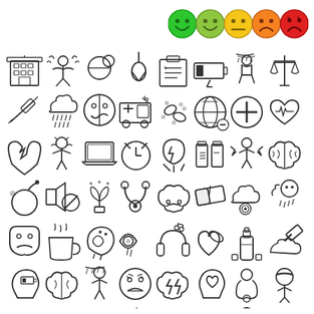[Figure (illustration): A grid of approximately 56 mental health and medical related outline icons arranged in 7 rows and 8 columns. Icons include: hospital building, person in distress, pill/medicine, hangman noose, checklist clipboard, battery low, person in rain, scales of justice, syringe, storm cloud with rain, split face emotion, ambulance, pills/capsules, globe minus, medical cross circle, heart with ECG, broken heart, angry person, laptop, alarm clock, head with lightning (mental stress), medicine bottles, person with lightning bolts (stress), brain, bomb, music speaker with ban, plant/trophy, stethoscope, sad brain, eraser/rubber, cloud with target, head in rain cloud, drama mask (sad), coffee cup, head with swirling thoughts, eye with tears, headphones, capsule heart, bottle/alcohol, hammer on cloud, head with battery, brain, person in storm, stressed emoji face, brain lightning bolt, head with heart, stethoscope with person, bandaged head, first aid kit, glass of water, bottles, IV drip stand, mobile phone, angry emoji, person standing, old telephone/scale.]
[Figure (infographic): Five emoji-style faces in a row at the top right, ranging from green (very happy) to red (very sad/angry), representing a mood/sentiment scale.]